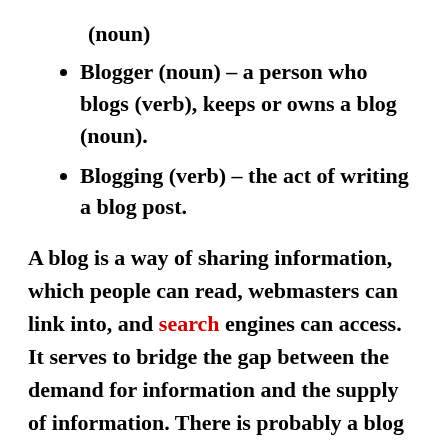(noun)
Blogger (noun) – a person who blogs (verb), keeps or owns a blog (noun).
Blogging (verb) – the act of writing a blog post.
A blog is a way of sharing information, which people can read, webmasters can link into, and search engines can access. It serves to bridge the gap between the demand for information and the supply of information. There is probably a blog for every subject or